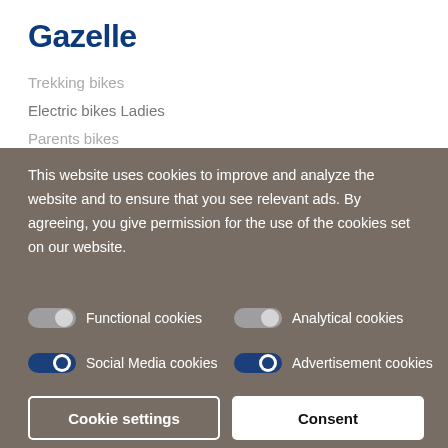Gazelle
Trekking bikes
Electric bikes Ladies
Parents bikes
This website uses cookies to improve and analyze the website and to ensure that you see relevant ads. By agreeing, you give permission for the use of the cookies set on our website.
Functional cookies
Analytical cookies
Social Media cookies
Advertisement cookies
Cookie settings
Consent